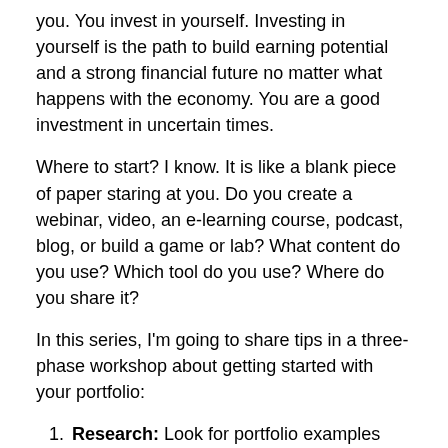you. You invest in yourself. Investing in yourself is the path to build earning potential and a strong financial future no matter what happens with the economy. You are a good investment in uncertain times.
Where to start? I know. It is like a blank piece of paper staring at you. Do you create a webinar, video, an e-learning course, podcast, blog, or build a game or lab? What content do you use? Which tool do you use? Where do you share it?
In this series, I'm going to share tips in a three-phase workshop about getting started with your portfolio:
Research: Look for portfolio examples and ideas that appeal to you.
Produce: Plan and create your own project.
Share: Publish and share your work; solicit and